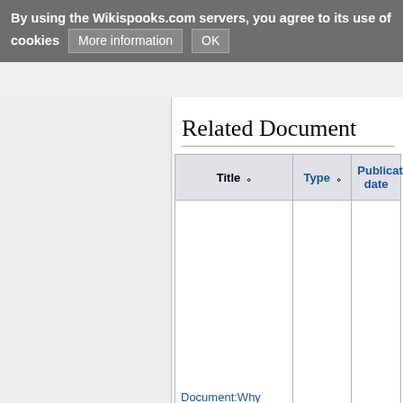By using the Wikispooks.com servers, you agree to its use of cookies   More information   OK
Related Document
| Title ⬦ | Type ⬦ | Publication date |
| --- | --- | --- |
| Document:Why |  |  |